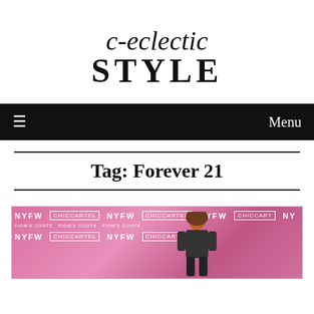[Figure (logo): c-eclectic STYLE blog logo in script and serif typeface]
≡   Menu
Tag: Forever 21
[Figure (photo): NYFW CHICCARTEL branded pink step-and-repeat backdrop with a person in the foreground]